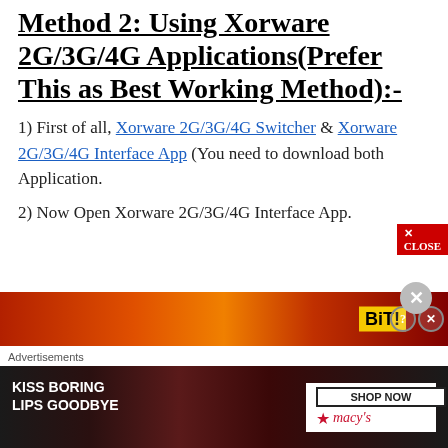Method 2: Using Xorware 2G/3G/4G Applications(Prefer This as Best Working Method):-
1) First of all, Xorware 2G/3G/4G Switcher & Xorware 2G/3G/4G Interface App (You need to download both Application.
2) Now Open Xorware 2G/3G/4G Interface App.
[Figure (other): Advertisement banner with red/orange flame background showing 'BiT!' logo with close buttons]
Advertisements
[Figure (other): Macy's advertisement: KISS BORING LIPS GOODBYE with SHOP NOW button and Macy's star logo]